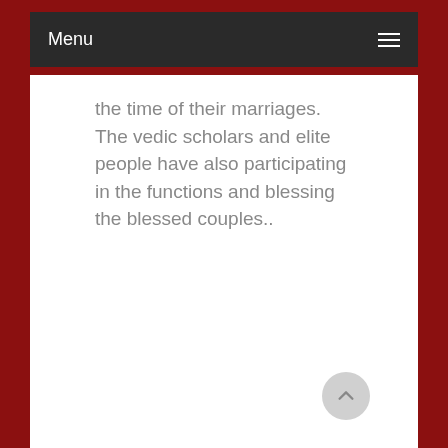Menu
the time of their marriages.
The vedic scholars and elite people have also participating in the functions and blessing the blessed couples..